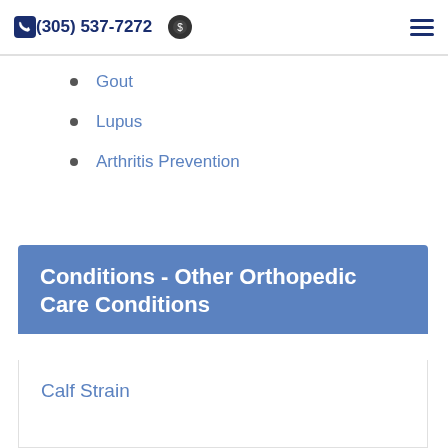(305) 537-7272
Gout
Lupus
Arthritis Prevention
Conditions - Other Orthopedic Care Conditions
Calf Strain